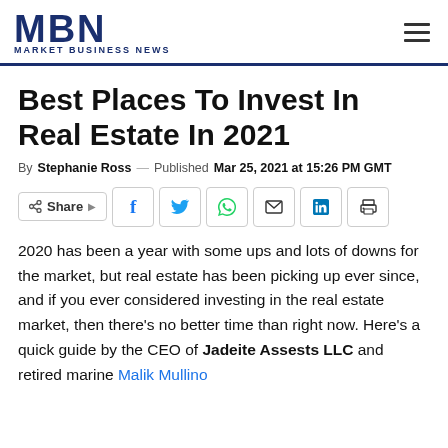MBN MARKET BUSINESS NEWS
Best Places To Invest In Real Estate In 2021
By Stephanie Ross — Published Mar 25, 2021 at 15:26 PM GMT
[Figure (other): Social share buttons: Share, Facebook, Twitter, WhatsApp, Email, LinkedIn, Print]
2020 has been a year with some ups and lots of downs for the market, but real estate has been picking up ever since, and if you ever considered investing in the real estate market, then there's no better time than right now. Here's a quick guide by the CEO of Jadeite Assests LLC and retired marine Malik Mullino